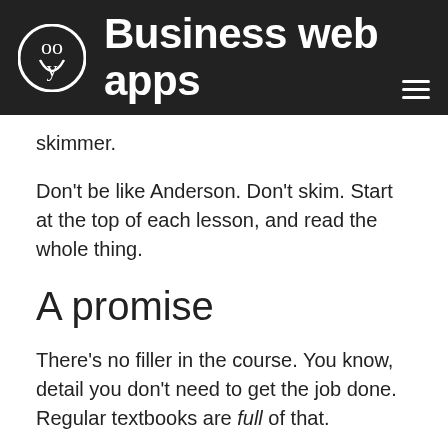Business web apps
skimmer.
Don't be like Anderson. Don't skim. Start at the top of each lesson, and read the whole thing.
A promise
There's no filler in the course. You know, detail you don't need to get the job done. Regular textbooks are full of that.
Not this course. Everything is aimed at the goal: making CRUD apps. Apps that businesses want.
There's only one type of extra, and they're optional